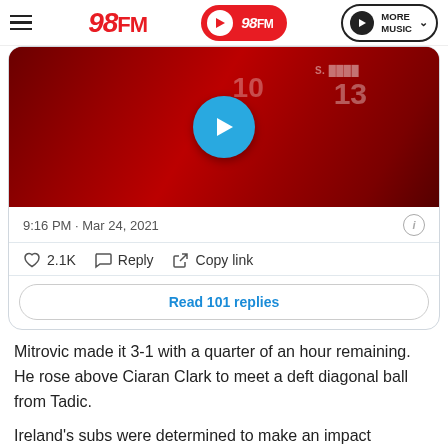98FM — More Music
[Figure (screenshot): Embedded tweet with a video thumbnail showing football players in red jerseys celebrating, with a blue play button overlay. Tweet metadata: 9:16 PM · Mar 24, 2021. Actions: 2.1K likes, Reply, Copy link. Button: Read 101 replies.]
Mitrovic made it 3-1 with a quarter of an hour remaining. He rose above Ciaran Clark to meet a deft diagonal ball from Tadic.
Ireland's subs were determined to make an impact